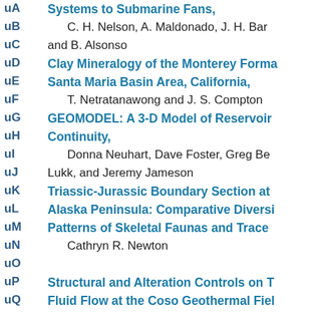uA
Systems to Submarine Fans,
C. H. Nelson, A. Maldonado, J. H. Bar
uB
uC
and B. Alsonso
uD
Clay Mineralogy of the Monterey Forma Santa Maria Basin Area, California,
uE
T. Netratanawong and J. S. Compton
uF
uG
GEOMODEL: A 3-D Model of Reservoir Continuity,
uH
Donna Neuhart, Dave Foster, Greg Be Lukk, and Jeremy Jameson
uI
uJ
uK
Triassic-Jurassic Boundary Section at Alaska Peninsula: Comparative Diversi Patterns of Skeletal Faunas and Trace
uL
uM
uN
Cathryn R. Newton
uO
Structural and Alteration Controls on T Fluid Flow at the Coso Geothermal Fiel California,
uP
uQ